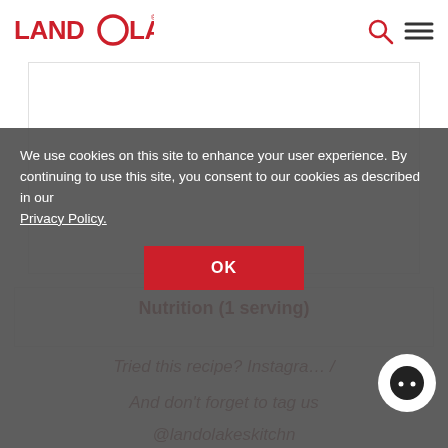[Figure (logo): Land O Lakes logo in red with circle O]
[Figure (illustration): White content image box area]
[Figure (illustration): Second partial white content box]
Nutrition (1 serving)
Tried this recipe? Instagram /
And don't forget to tag us
@landolakeskitchn
We use cookies on this site to enhance your user experience. By continuing to use this site, you consent to our cookies as described in our Privacy Policy.
OK